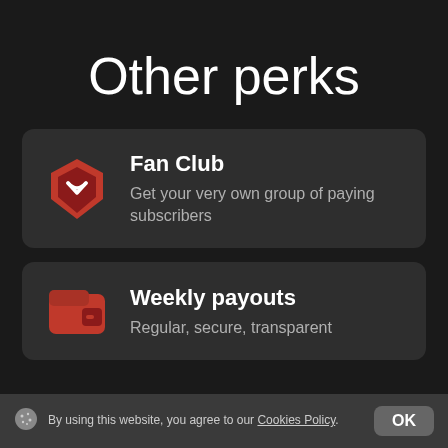Other perks
Fan Club
Get your very own group of paying subscribers
Weekly payouts
Regular, secure, transparent
By using this website, you agree to our Cookies Policy. OK